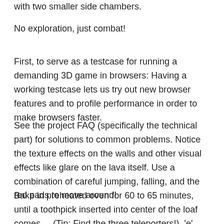with two smaller side chambers.
No exploration, just combat!
First, to serve as a testcase for running a demanding 3D game in browsers: Having a working testcase lets us try out new browser features and to profile performance in order to make browsers faster.
See the project FAQ (specifically the technical part) for solutions to common problems. Notice the texture effects on the walls and other visual effects like glare on the lava itself. Use a combination of careful jumping, falling, and the red pads to move around!
Bake in preheated oven for 60 to 65 minutes, until a toothpick inserted into center of the loaf comes ... (Tip: Find the three teleporters!). 'e' toggles edit mode, which lets you fly around the map and actually modify it. In order to play you must do the